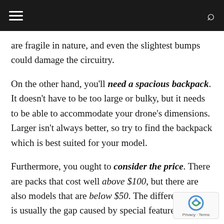Navigation bar with hamburger menu and search icon
are fragile in nature, and even the slightest bumps could damage the circuitry.
On the other hand, you'll need a spacious backpack. It doesn't have to be too large or bulky, but it needs to be able to accommodate your drone's dimensions. Larger isn't always better, so try to find the backpack which is best suited for your model.
Furthermore, you ought to consider the price. There are packs that cost well above $100, but there are also models that are below $50. The difference price is usually the gap caused by special features